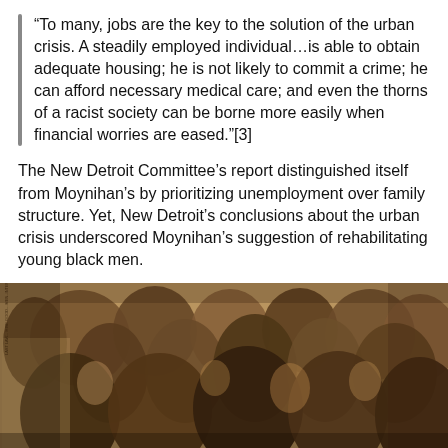“To many, jobs are the key to the solution of the urban crisis. A steadily employed individual…is able to obtain adequate housing; he is not likely to commit a crime; he can afford necessary medical care; and even the thorns of a racist society can be borne more easily when financial worries are eased.”[3]
The New Detroit Committee’s report distinguished itself from Moynihan’s by prioritizing unemployment over family structure. Yet, New Detroit’s conclusions about the urban crisis underscored Moynihan’s suggestion of rehabilitating young black men.
[Figure (photo): A sepia-toned historical photograph showing a large group of men crowded together, appearing to be from the late 1960s era, related to the New Detroit Committee context.]